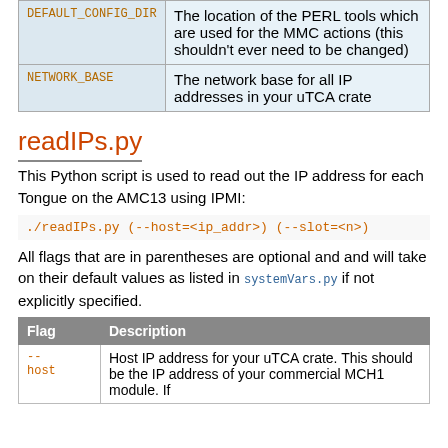| Variable | Description |
| --- | --- |
| DEFAULT_CONFIG_DIR | The location of the PERL tools which are used for the MMC actions (this shouldn't ever need to be changed) |
| NETWORK_BASE | The network base for all IP addresses in your uTCA crate |
readIPs.py
This Python script is used to read out the IP address for each Tongue on the AMC13 using IPMI:
All flags that are in parentheses are optional and and will take on their default values as listed in systemVars.py if not explicitly specified.
| Flag | Description |
| --- | --- |
| --
host | Host IP address for your uTCA crate. This should be the IP address of your commercial MCH1 module. If |